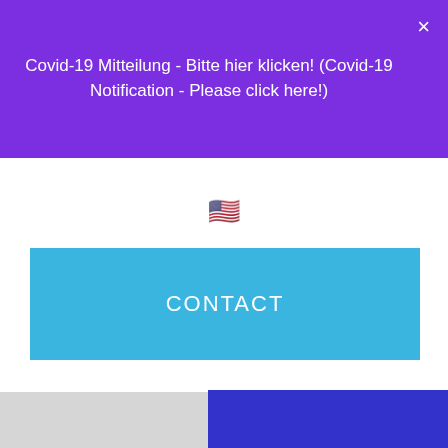Covid-19 Mitteilung - Bitte hier klicken! (Covid-19 Notification - Please click here!)
[Figure (other): US flag emoji centered on white background]
CONTACT
[Figure (other): Gray background section with a blue-purple button rectangle partially visible at the bottom right]